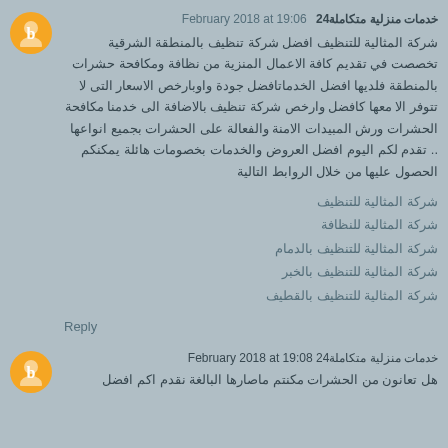خدمات منزلية متكاملة24 February 2018 at 19:06
شركة المثالية للتنظيف افضل شركة تنظيف بالمنطقة الشرقية تخصصت في تقديم كافة الاعمال المنزية من نظافة ومكافحة حشرات بالمنطقة فلديها افضل الخدماتافضل جودة واوبارخص الاسعار التى لا تتوفر الا معها كافضل وارخص شركة تنظيف بالاضافة الى خدمنا مكافحة الحشرات ورش المبيدات الامنة والفعالة على الحشرات بجميع انواعها .. تقدم لكم اليوم افضل العروض والخدمات بخصومات هائلة يمكنكم الحصول عليها من خلال الروابط التالية
شركة المثالية للتنظيف
شركة المثالية للنظافة
شركة المثالية للتنظيف بالدمام
شركة المثالية للتنظيف بالخبر
شركة المثالية للتنظيف بالقطيف
Reply
خدمات منزلية متكاملة24 February 2018 at 19:08
هل تعانون من الحشرات مكنتم ماصارها البالغة نقدم اكم افضل